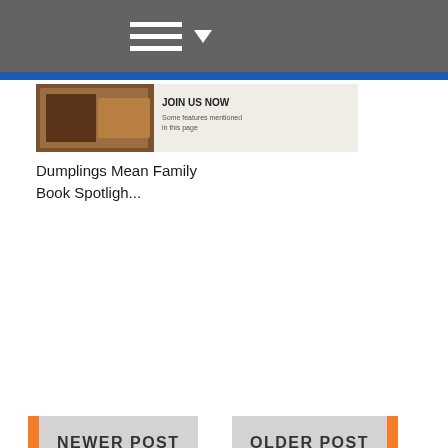[Figure (screenshot): Website navigation bar with hamburger menu icon and dropdown arrow on grey background with blue stripe below]
[Figure (photo): Thumbnail image for article about Dumplings]
Dumplings Mean Family Book Spotligh...
NEWER POST
OLDER POST
0 COMMENTS : POST A COMMENT
Enter Comment